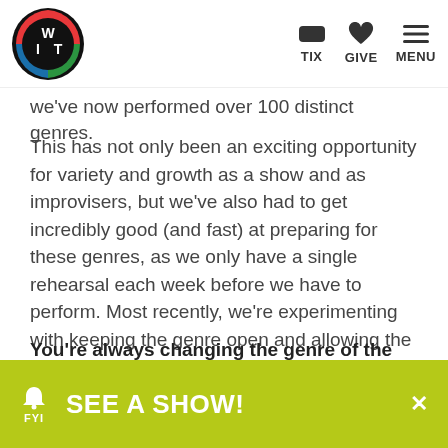WIT logo | TIX | GIVE | MENU
we've now performed over 100 distinct genres.
This has not only been an exciting opportunity for variety and growth as a show and as improvisers, but we've also had to get incredibly good (and fast) at preparing for these genres, as we only have a single rehearsal each week before we have to perform. Most recently, we're experimenting with keeping the genre open and allowing the cast to discover it organically based on the suggested title and the style of the first scene.
You're always changing the genre of the 'play within the play.' How do you select the genre? Can you tell us a bit about the…
SEE A SHOW! FYI ×